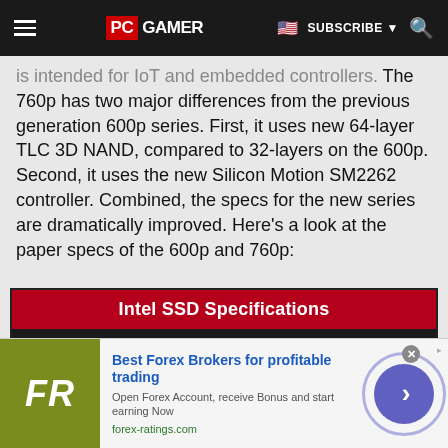PC GAMER | SUBSCRIBE
is intended for IoT and embedded controllers. The 760p has two major differences from the previous generation 600p series. First, it uses new 64-layer TLC 3D NAND, compared to 32-layers on the 600p. Second, it uses the new Silicon Motion SM2262 controller. Combined, the specs for the new series are dramatically improved. Here's a look at the paper specs of the 600p and 760p:
|  | 760p | 600p |
| --- | --- | --- |
| Capacities | 128GB-2TB | 128GB-1TB |
| Controller | SM2262 | SM2260 |
| NAND | 3D NAND TLC | 3D NAND TLC |
[Figure (other): Advertisement banner: FR logo (olive/green background), 'Best Forex Brokers for profitable trading', forex-ratings.com]